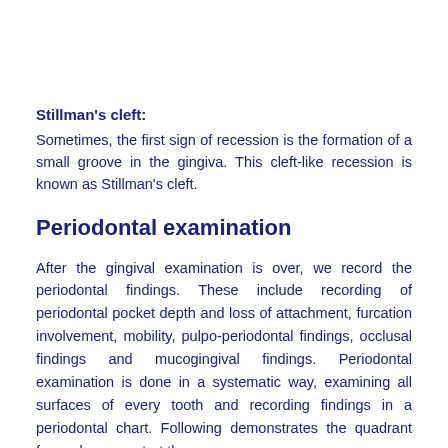Stillman's cleft: Sometimes, the first sign of recession is the formation of a small groove in the gingiva. This cleft-like recession is known as Stillman's cleft.
Periodontal examination
After the gingival examination is over, we record the periodontal findings. These include recording of periodontal pocket depth and loss of attachment, furcation involvement, mobility, pulpo-periodontal findings, occlusal findings and mucogingival findings. Periodontal examination is done in a systematic way, examining all surfaces of every tooth and recording findings in a periodontal chart. Following demonstrates the quadrant from where we start the